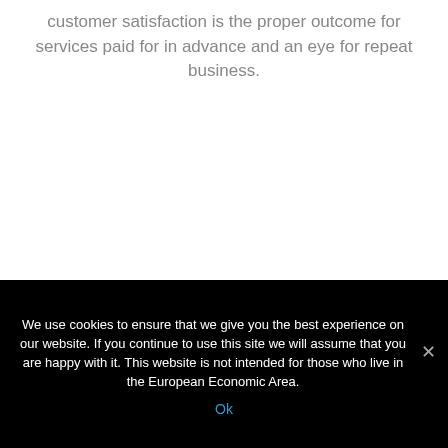customer satisfaction is the proper outcome for services paid for in advance and an eye for repeat business.
We use cookies to ensure that we give you the best experience on our website. If you continue to use this site we will assume that you are happy with it. This website is not intended for those who live in the European Economic Area.
Ok